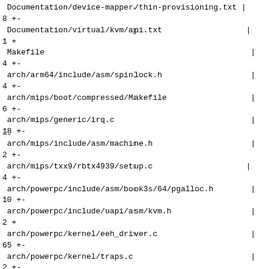Documentation/device-mapper/thin-provisioning.txt |
8 +-
 Documentation/virtual/kvm/api.txt                  |
1 +
 Makefile                                            |
4 +-
 arch/arm64/include/asm/spinlock.h                   |
4 +-
 arch/mips/boot/compressed/Makefile                  |
6 +-
 arch/mips/generic/irq.c                             |
18 +-
 arch/mips/include/asm/machine.h                     |
2 +-
 arch/mips/txx9/rbtx4939/setup.c                    |
4 +-
 arch/powerpc/include/asm/book3s/64/pgalloc.h        |
10 +-
 arch/powerpc/include/uapi/asm/kvm.h                 |
2 +
 arch/powerpc/kernel/eeh_driver.c                    |
65 +-
 arch/powerpc/kernel/traps.c                         |
2 +-
 arch/powerpc/kvm/book3s_64_mmu_hv.c                |
8 +-
 arch/powerpc/kvm/book3s_hv.c                        |
8 +
 arch/powerpc/kvm/powerpc.c                          |
8 +-